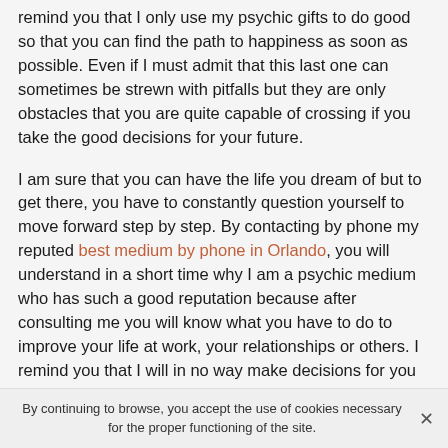remind you that I only use my psychic gifts to do good so that you can find the path to happiness as soon as possible. Even if I must admit that this last one can sometimes be strewn with pitfalls but they are only obstacles that you are quite capable of crossing if you take the good decisions for your future.
I am sure that you can have the life you dream of but to get there, you have to constantly question yourself to move forward step by step. By contacting by phone my reputed best medium by phone in Orlando, you will understand in a short time why I am a psychic medium who has such a good reputation because after consulting me you will know what you have to do to improve your life at work, your relationships or others. I remind you that I will in no way make decisions for you but I just report what I see and what the tarot cards tell me in relation to your
By continuing to browse, you accept the use of cookies necessary for the proper functioning of the site.